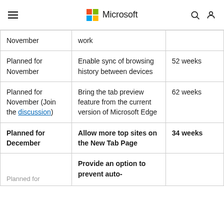Microsoft
| Timeline | Feature | Votes |
| --- | --- | --- |
| November | work |  |
| Planned for November | Enable sync of browsing history between devices | 52 weeks |
| Planned for November (Join the discussion) | Bring the tab preview feature from the current version of Microsoft Edge | 62 weeks |
| Planned for December | Allow more top sites on the New Tab Page | 34 weeks |
| Planned for... | Provide an option to prevent auto- |  |